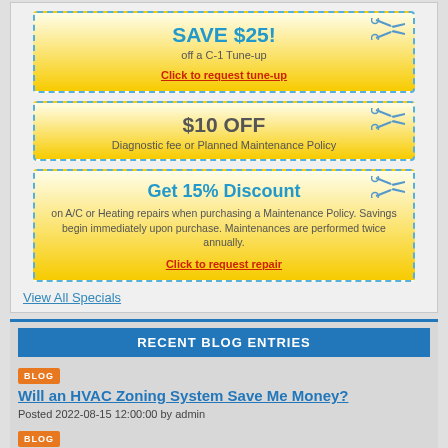[Figure (infographic): Coupon: SAVE $25! off a C-1 Tune-up. Click to request tune-up.]
[Figure (infographic): Coupon: $10 OFF Diagnostic fee or Planned Maintenance Policy.]
[Figure (infographic): Coupon: Get 15% Discount on A/C or Heating repairs when purchasing a Maintenance Policy. Savings begin immediately upon purchase. Maintenances are performed twice annually. Click to request repair.]
View All Specials
RECENT BLOG ENTRIES
BLOG
Will an HVAC Zoning System Save Me Money?
Posted 2022-08-15 12:00:00 by admin
BLOG